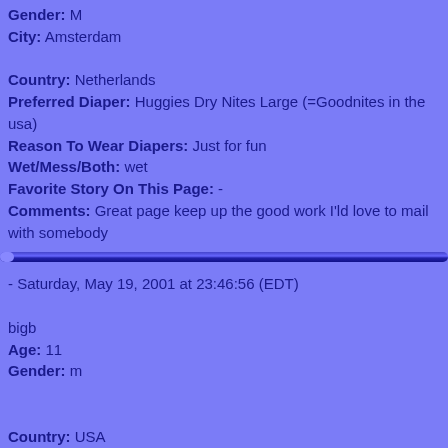Gender: M
City: Amsterdam
Country: Netherlands
Preferred Diaper: Huggies Dry Nites Large (=Goodnites in the usa)
Reason To Wear Diapers: Just for fun
Wet/Mess/Both: wet
Favorite Story On This Page: -
Comments: Great page keep up the good work I'ld love to mail with somebody
- Saturday, May 19, 2001 at 23:46:56 (EDT)
bigb
Age: 11
Gender: m
Country: USA
Reason To Wear Diapers: i like the feel of them and it is fun
Wet/Mess/Both: both